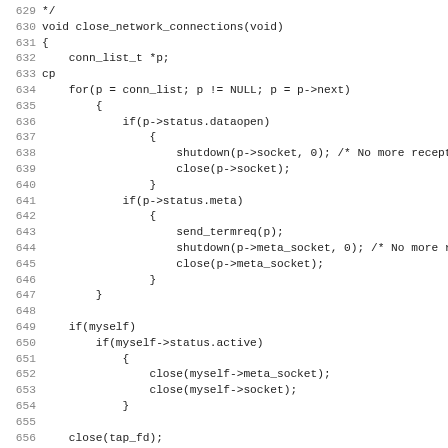Source code listing lines 629-660, C function close_network_connections